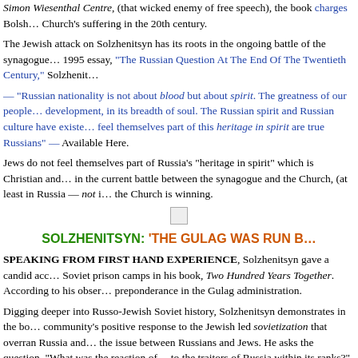Simon Wiesenthal Centre, (that wicked enemy of free speech), the book charges Bolsh... Church's suffering in the 20th century.
The Jewish attack on Solzhenitsyn has its roots in the ongoing battle of the synagogue 1995 essay, "The Russian Question At The End Of The Twentieth Century," Solzhenit...
— "Russian nationality is not about blood but about spirit. The greatness of our people development, in its breadth of soul. The Russian spirit and Russian culture have existe... feel themselves part of this heritage in spirit are true Russians" — Available Here.
Jews do not feel themselves part of Russia's "heritage in spirit" which is Christian and in the current battle between the synagogue and the Church, (at least in Russia — not i... the Church is winning.
[Figure (other): Small broken image icon centered on page]
SOLZHENITSYN: 'THE GULAG WAS RUN B...
SPEAKING FROM FIRST HAND EXPERIENCE, Solzhenitsyn gave a candid acc... Soviet prison camps in his book, Two Hundred Years Together. According to his obser... preponderance in the Gulag administration.
Digging deeper into Russo-Jewish Soviet history, Solzhenitsyn demonstrates in the bo... community's positive response to the Jewish led sovietization that overran Russia and the issue between Russians and Jews. He asks the question, "What was the reaction of to the traitors of Russia within its ranks?" World Jewry's reply is to call Solzhenitsyn...